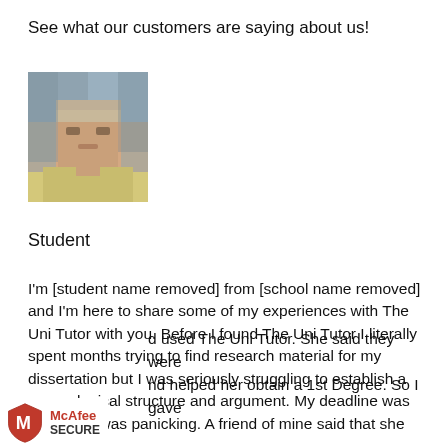See what our customers are saying about us!
[Figure (photo): Profile photo of a student, pixelated/blurred face]
Student
I'm [student name removed] from [school name removed] and I'm here to share some of my experiences with The Uni Tutor with you. Before I found The Uni Tutor I literally spent months trying to find research material for my dissertation but I was seriously struggling to establish a proper logical structure and argument. My deadline was looming. I was panicking. A friend of mine said that she had used The Uni Tutor. She said they were good and helped her obtain a 1st Degree. So I gave
[Figure (logo): McAfee SECURE badge with shield logo]